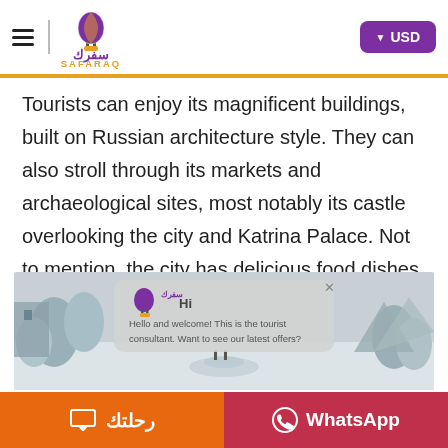SAFARAQ - USD header
Tourists can enjoy its magnificent buildings, built on Russian architecture style. They can also stroll through its markets and archaeological sites, most notably its castle overlooking the city and Katrina Palace. Not to mention, the city has delicious food dishes, such as cheese sauce and goose meat.
[Figure (photo): Snowy landscape scene in black and white with a chat overlay showing 'Hi' and 'Hello and welcome! This is the tourist consultant. Want to see our latest offers?' with a small Safaraq logo]
رحلتك (trip) button and WhatsApp button